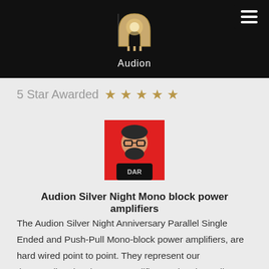[Figure (logo): Audion brand logo — a vacuum tube icon in gold/beige on black background with the word 'Audion' in white below it]
5 Star Awarded ★★★★★
[Figure (photo): Reviewer avatar illustration: a bearded man with glasses on a red background, wearing a black shirt with 'DAR' text]
Audion Silver Night Mono block power amplifiers
The Audion Silver Night Anniversary Parallel Single Ended and Push-Pull Mono-block power amplifiers, are hard wired point to point. They represent our  intermediate level power amplifiers, using the well known 300B tubes, or lesser known PX25 or 2A3